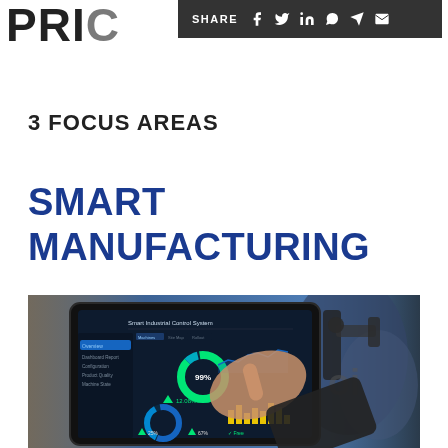PRIC
SHARE
3 FOCUS AREAS
SMART MANUFACTURING
[Figure (photo): Person pointing at a tablet displaying a Smart Industrial Control System dashboard with donut charts, bar charts, and performance metrics including 99%, 12.08%, 25%, 67% indicators. Industrial robotic arm visible in the background.]